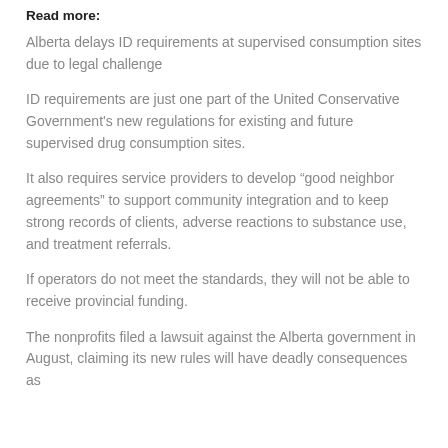Read more:
Alberta delays ID requirements at supervised consumption sites due to legal challenge
ID requirements are just one part of the United Conservative Government's new regulations for existing and future supervised drug consumption sites.
It also requires service providers to develop “good neighbor agreements” to support community integration and to keep strong records of clients, adverse reactions to substance use, and treatment referrals.
If operators do not meet the standards, they will not be able to receive provincial funding.
The nonprofits filed a lawsuit against the Alberta government in August, claiming its new rules will have deadly consequences as